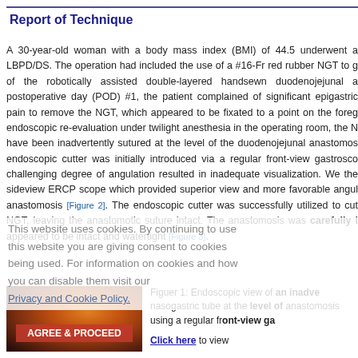Report of Technique
A 30-year-old woman with a body mass index (BMI) of 44.5 underwent a LBPD/DS. The operation had included the use of a #16-Fr red rubber NGT to g of the robotically assisted double-layered handsewn duodenojejunal a postoperative day (POD) #1, the patient complained of significant epigastric pain to remove the NGT, which appeared to be fixated to a point on the foreg endoscopic re-evaluation under twilight anesthesia in the operating room, the N have been inadvertently sutured at the level of the duodenojejunal anastomo endoscopic cutter was initially introduced via a regular front-view gastrosco challenging degree of angulation resulted in inadequate visualization. We the sideview ERCP scope which provided superior view and more favorable angul anastomosis [Figure 2]. The endoscopic cutter was successfully utilized to cut NGT, leaving the anastomotic suture intact. The anastomosis was carefully i appeared to be intact and watertight [Figure 3].
[Figure (photo): Endoscopic view of an inadvertently sutured nasogastric tube at the level of the anastomosis using a regular front-view gastroscope]
Figuer 1: Endoscopic view of an inadve nasogastric tube at the level of anastomosis using a regular front-view ga
Click here to view